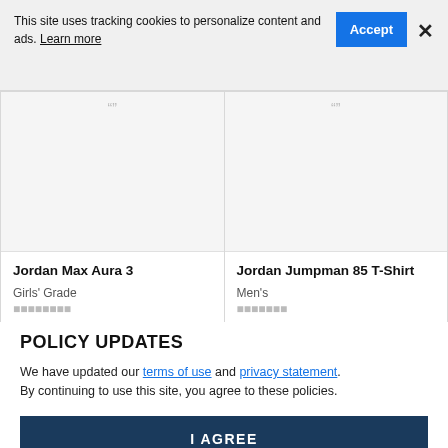This site uses tracking cookies to personalize content and ads. Learn more
[Figure (screenshot): Two product cards partially visible: 'Jordan Max Aura 3' (Girls' Grade) and 'Jordan Jumpman 85 T-Shirt' (Men's Black/Gym Red), with grey image placeholder areas]
POLICY UPDATES
We have updated our terms of use and privacy statement. By continuing to use this site, you agree to these policies.
I AGREE